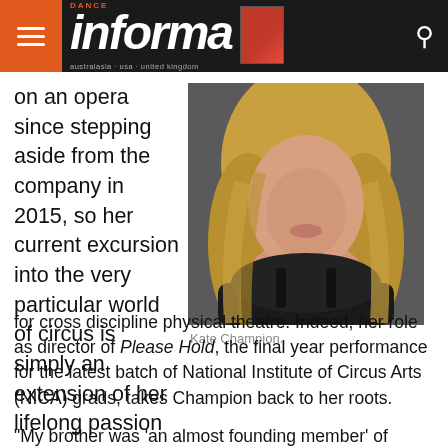Dance Informa
on an opera since stepping aside from the company in 2015, so her current excursion into the very particular world of circus is simply an extension of her lifelong passion for cross discipline physical theatre. Indeed, her role as director of Please Hold, the final year performance for the latest batch of National Institute of Circus Arts (NICA) grads, takes Champion back to her roots.
[Figure (photo): Headshot portrait of Kate Champion, a blonde woman wearing a black top, photographed against a dark background.]
Kate Champion.
“My brother was ‘an almost founding member’ of Circus Oz…